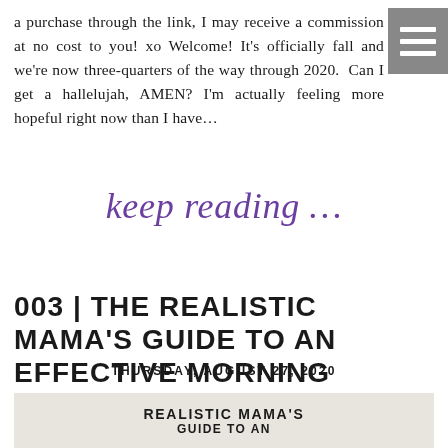a purchase through the link, I may receive a commission at no cost to you! xo Welcome! It's officially fall and we're now three-quarters of the way through 2020.  Can I get a hallelujah, AMEN? I'm actually feeling more hopeful right now than I have…
[Figure (other): Hamburger/navigation menu icon in grey box, top right corner]
keep reading …
003 | THE REALISTIC MAMA'S GUIDE TO AN EFFECTIVE MORNING ROUTINE
THURSDAY, AUGUST 27, 2020
[Figure (photo): Partial image showing text overlay: REALISTIC MAMA'S GUIDE TO AN with a circular photo element, on a textured paper-like background]